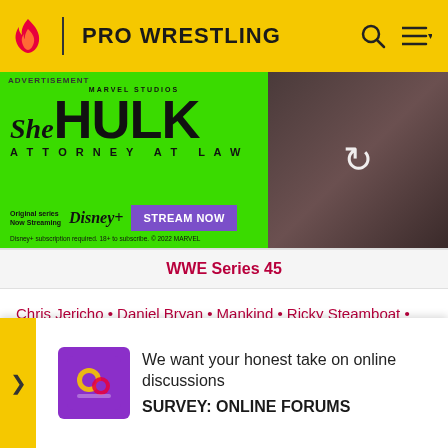PRO WRESTLING
[Figure (screenshot): She-Hulk Attorney at Law Marvel Studios advertisement with green background. Shows She/HULK ATTORNEY AT LAW logo, Disney+ streaming info, STREAM NOW button, and a photo of the character loading.]
WWE Series 45
Chris Jericho • Daniel Bryan • Mankind • Ricky Steamboat • The Miz • Triple H
WWE Series 46
Bad News Barrett • ... King ...
We want your honest take on online discussions
SURVEY: ONLINE FORUMS